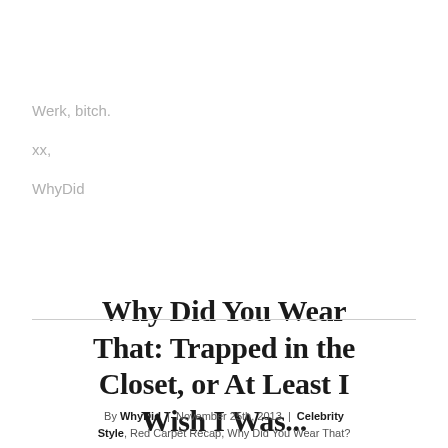Werk, bitch.
xx,
WhyDid
Why Did You Wear That: Trapped in the Closet, or At Least I Wish I Was...
By WhyDid | November 25th, 2013 | Celebrity Style, Red Carpet Recap, Why Did You Wear That?